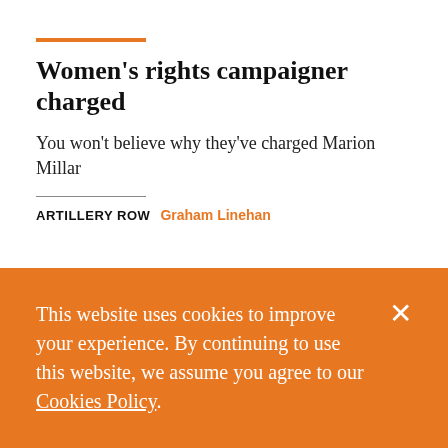Women's rights campaigner charged
You won't believe why they've charged Marion Millar
ARTILLERY ROW  Graham Linehan
This website uses cookies to improve your experience. By continuing to use this website, we assume you agree to our Cookies Policy.